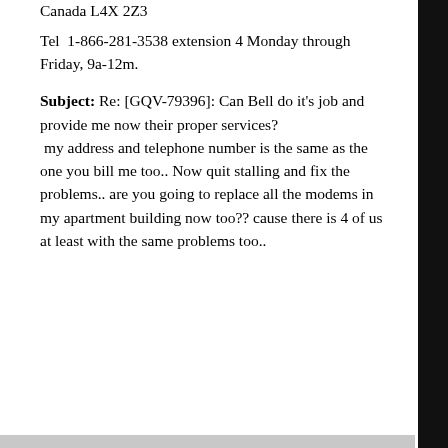Canada L4X 2Z3
Tel  1-866-281-3538 extension 4 Monday through Friday, 9a-12m.
Subject: Re: [GQV-79396]: Can Bell do it's job and provide me now their proper services?
 my address and telephone number is the same as the one you bill me too.. Now quit stalling and fix the problems.. are you going to replace all the modems in my apartment building now too?? cause there is 4 of us at least with the same problems too..
. 
PS
Now many of us firsthand know how lousy Bell services is and thus now Acanac/Bell is no different!!! Such as relationship is rather